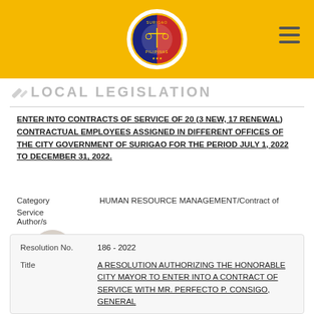[Figure (logo): Circular seal of Lungsod ng Surigao (City of Surigao) logo centered in a golden/yellow header bar]
LOCAL LEGISLATION
ENTER INTO CONTRACTS OF SERVICE OF 20 (3 NEW, 17 RENEWAL) CONTRACTUAL EMPLOYEES ASSIGNED IN DIFFERENT OFFICES OF THE CITY GOVERNMENT OF SURIGAO FOR THE PERIOD JULY 1, 2022 TO DECEMBER 31, 2022.
Category   HUMAN RESOURCE MANAGEMENT/Contract of Service
Author/s
[Figure (photo): Small circular author photo of a man in white shirt]
| Field | Value |
| --- | --- |
| Resolution No. | 186 - 2022 |
| Title | A RESOLUTION AUTHORIZING THE HONORABLE CITY MAYOR TO ENTER INTO A CONTRACT OF SERVICE WITH MR. PERFECTO P. CONSIGO, GENERAL |